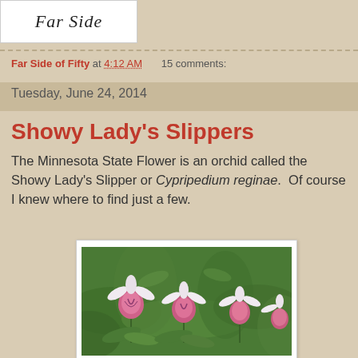[Figure (logo): Cursive script logo reading 'Far Side' on white background]
Far Side of Fifty at 4:12 AM    15 comments:
Tuesday, June 24, 2014
Showy Lady's Slippers
The Minnesota State Flower is an orchid called the Showy Lady's Slipper or Cypripedium reginae.  Of course I knew where to find just a few.
[Figure (photo): Photograph of Showy Lady's Slipper orchid flowers (Cypripedium reginae) with pink and white blooms among green foliage]